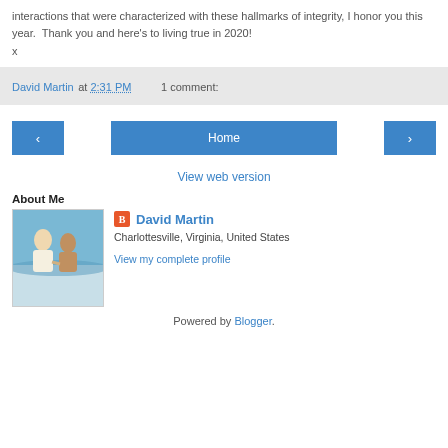interactions that were characterized with these hallmarks of integrity, I honor you this year.  Thank you and here's to living true in 2020!
x
David Martin at 2:31 PM    1 comment:
[Figure (screenshot): Navigation buttons: left arrow, Home, right arrow]
View web version
About Me
[Figure (photo): Profile photo showing two people at a beach]
David Martin
Charlottesville, Virginia, United States
View my complete profile
Powered by Blogger.